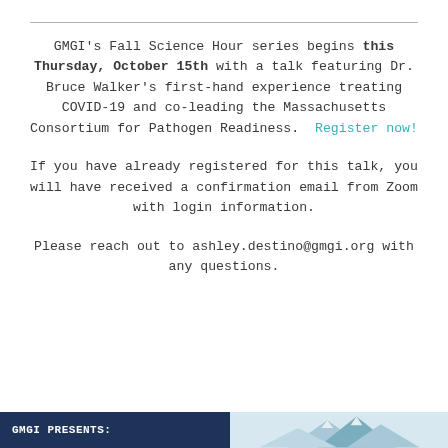GMGI's Fall Science Hour series begins this Thursday, October 15th with a talk featuring Dr. Bruce Walker's first-hand experience treating COVID-19 and co-leading the Massachusetts Consortium for Pathogen Readiness. Register now!
If you have already registered for this talk, you will have received a confirmation email from Zoom with login information.
Please reach out to ashley.destino@gmgi.org with any questions.
[Figure (other): Bottom banner split in two halves: left dark navy blue with text 'GMGI PRESENTS:', right light blue with mountain silhouette illustration]